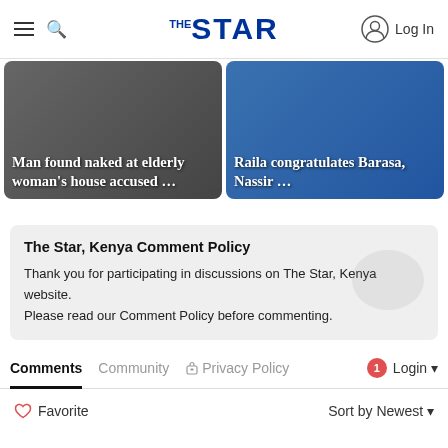THE STAR — Log In
[Figure (photo): News card: Man found naked at elderly woman's house accused ...]
[Figure (photo): News card: Raila congratulates Barasa, Nassir ...]
The Star, Kenya Comment Policy
Thank you for participating in discussions on The Star, Kenya website.
Please read our Comment Policy before commenting.
Comments  Community  Privacy Policy  Login
Favorite  Sort by Newest